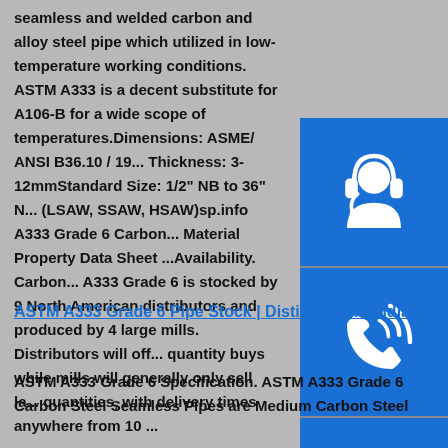seamless and welded carbon and alloy steel pipe which utilized in low-temperature working conditions. ASTM A333 is a decent substitute for A106-B for a wide scope of temperatures.Dimensions: ASME/ ANSI B36.10 / 19... Thickness: 3-12mmStandard Size: 1/2" NB to 36" N... (LSAW, SSAW, HSAW)sp.info A333 Grade 6 Carbon... Material Property Data Sheet ...Availability. Carbon... A333 Grade 6 is stocked by 9 North American distributors and produced by 4 large mills. Distributors will off... quantity buys while mills will generally only sell la... quantities, with delivery times anywhere from 10 ...
[Figure (illustration): Three blue square icons on the right sidebar: top is a customer service/headset icon, middle is a phone/call icon, bottom is a Skype logo icon.]
ASTM A333 Grade 6 Pipe Stock | Distibutors in India
ASTM A333 Grade 6 Specification. ASTM A333 Grade 6 Carbon Steel Seamless Pipes are Medium Carbon Steel